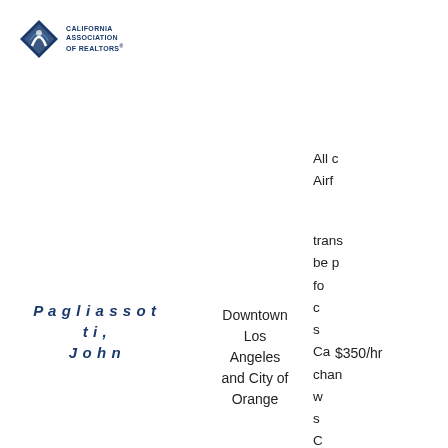[Figure (logo): California Association of Realtors logo with diamond shape and stylized figure]
All c
Airf
trans
be p
fo
c
s
Ca
chan
w
s
C
Co
Ange
Ve
Dieg
Pagliassotti, John
Downtown Los Angeles and City of Orange
$350/hr